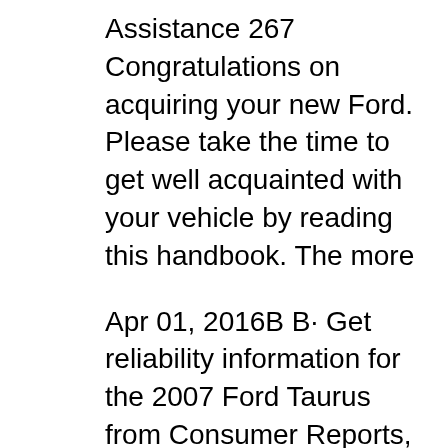Assistance 267 Congratulations on acquiring your new Ford. Please take the time to get well acquainted with your vehicle by reading this handbook. The more
Apr 01, 2016В В· Get reliability information for the 2007 Ford Taurus from Consumer Reports, which combines extensive survey data and expert technical knowledge. Owners may вЂ¦ Aug 17, 2015В В· The Ford Taurus 2000 2001 2002 2003 2004 2005 2006 2007 factory repair manual it is the only service manual that you really need to maintain your car !!!
Jan 29, 2019В В· Fuse box location and